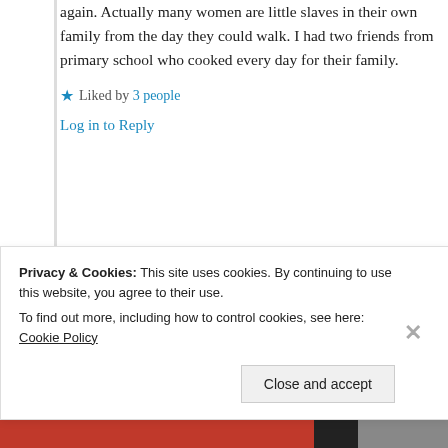again. Actually many women are little slaves in their own family from the day they could walk. I had two friends from primary school who cooked every day for their family.
★ Liked by 3 people
Log in to Reply
Suma Reddy
Privacy & Cookies: This site uses cookies. By continuing to use this website, you agree to their use. To find out more, including how to control cookies, see here: Cookie Policy
Close and accept